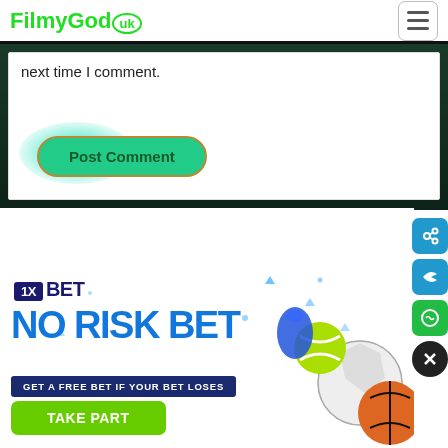FilmyGod.uk
next time I comment.
Post Comment
[Figure (screenshot): 1XBET advertisement banner: NO RISK BET - GET A FREE BET IF YOUR BET LOSES - TAKE PART button, with sports balls illustration on the right]